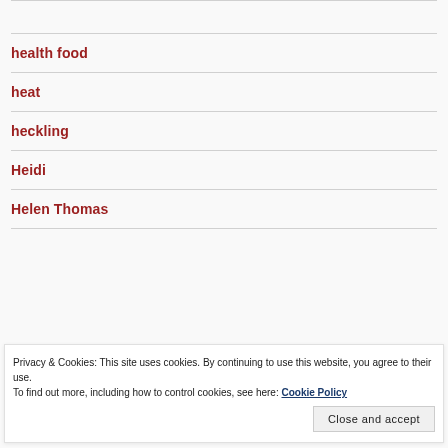health food
heat
heckling
Heidi
Helen Thomas
Privacy & Cookies: This site uses cookies. By continuing to use this website, you agree to their use. To find out more, including how to control cookies, see here: Cookie Policy
Close and accept